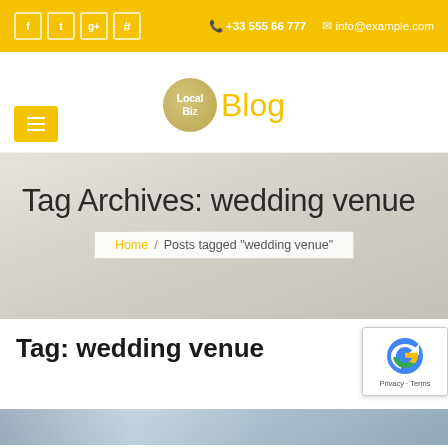f  t  g+  #  +33 555 66 777  info@example.com
[Figure (logo): Local Biz Blog logo — golden circle with 'Local Biz' text and 'Blog' in yellow next to it]
Tag Archives: wedding venue
Home / Posts tagged "wedding venue"
Tag: wedding venue